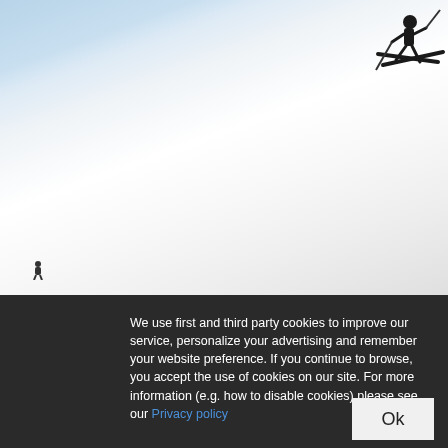[Figure (photo): A skier airborne above a steep white snowy slope with light blue sky in the background. Skier visible in top right corner with skis crossed, small figure visible at bottom left.]
28 NOV...
The Pa... for some of the w... man to e...
iStockph...
We use first and third party cookies to improve our service, personalize your advertising and remember your website preference. If you continue to browse, you accept the use of cookies on our site. For more information (e.g. how to disable cookies) please see our Privacy policy